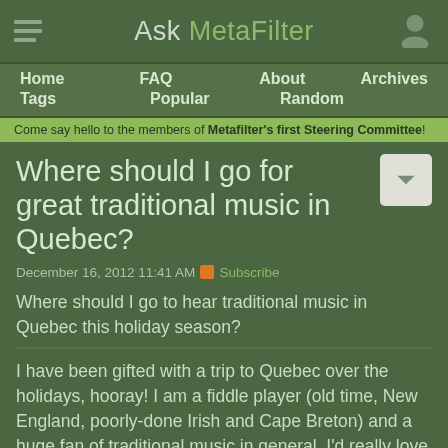Ask MetaFilter
Home  FAQ  About  Archives  Tags  Popular  Random
Come say hello to the members of Metafilter's first Steering Committee!
Where should I go for great traditional music in Quebec?
December 16, 2012 11:41 AM  Subscribe
Where should I go to hear traditional music in Quebec this holiday season?
I have been gifted with a trip to Quebec over the holidays, hooray! I am a fiddle player (old time, New England, poorly-done Irish and Cape Breton) and a huge fan of traditional music in general. I'd really love to be able to get to hear